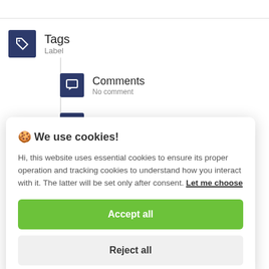[Figure (screenshot): Background UI with Tags label, Comments icon with 'No comment' text, and Category icon]
🍪 We use cookies!
Hi, this website uses essential cookies to ensure its proper operation and tracking cookies to understand how you interact with it. The latter will be set only after consent. Let me choose
Accept all
Reject all